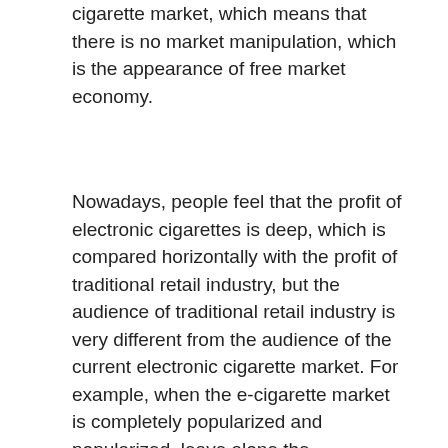cigarette market, which means that there is no market manipulation, which is the appearance of free market economy.
Nowadays, people feel that the profit of electronic cigarettes is deep, which is compared horizontally with the profit of traditional retail industry, but the audience of traditional retail industry is very different from the audience of the current electronic cigarette market. For example, when the e-cigarette market is completely popularized and popularized, leave alone the comparison with tobacco, compare it with the daily products that every family may consume every day, then you can see that e-cigarettes won't be very profitable. I believe it is absolutely comparable to the overall profit of the traditional retail industry.